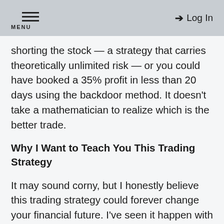MENU | Log In
shorting the stock — a strategy that carries theoretically unlimited risk — or you could have booked a 35% profit in less than 20 days using the backdoor method. It doesn't take a mathematician to realize which is the better trade.
Why I Want to Teach You This Trading Strategy
It may sound corny, but I honestly believe this trading strategy could forever change your financial future. I've seen it happen with many people before.